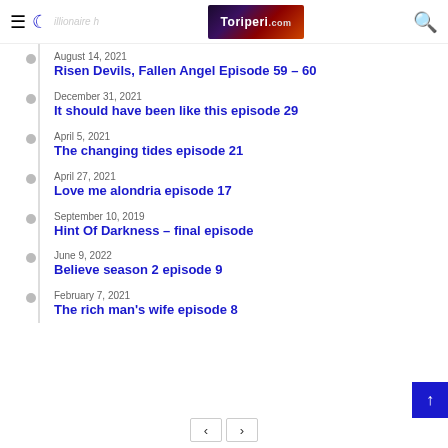Toriperi.com
August 14, 2021 – Risen Devils, Fallen Angel Episode 59 – 60
December 31, 2021 – It should have been like this episode 29
April 5, 2021 – The changing tides episode 21
April 27, 2021 – Love me alondria episode 17
September 10, 2019 – Hint Of Darkness – final episode
June 9, 2022 – Believe season 2 episode 9
February 7, 2021 – The rich man's wife episode 8